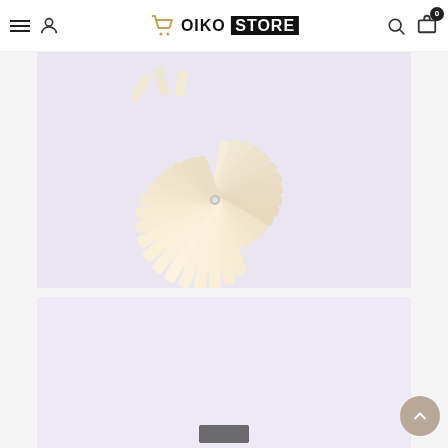OIKO STORE - Navigation header with hamburger menu, user icon, logo, search, and cart
[Figure (photo): Fan-shaped nail tip color swatch display with cream/natural colored nail tips fanned out in a circular peacock-like arrangement on a lavender/purple background. The tips are connected at a silver pivot point.]
[Figure (photo): Second product image showing a fan nail tip swatch display on lavender background, partially visible (bottom cropped). A small square object visible at bottom center.]